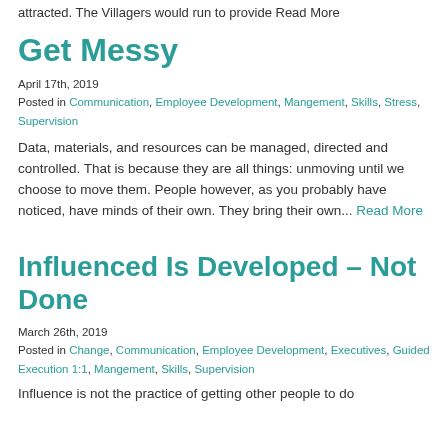attracted. The Villagers would run to provide Read More
Get Messy
April 17th, 2019
Posted in Communication, Employee Development, Mangement, Skills, Stress, Supervision
Data, materials, and resources can be managed, directed and controlled. That is because they are all things: unmoving until we choose to move them. People however, as you probably have noticed, have minds of their own. They bring their own... Read More
Influenced Is Developed – Not Done
March 26th, 2019
Posted in Change, Communication, Employee Development, Executives, Guided Execution 1:1, Mangement, Skills, Supervision
Influence is not the practice of getting other people to do